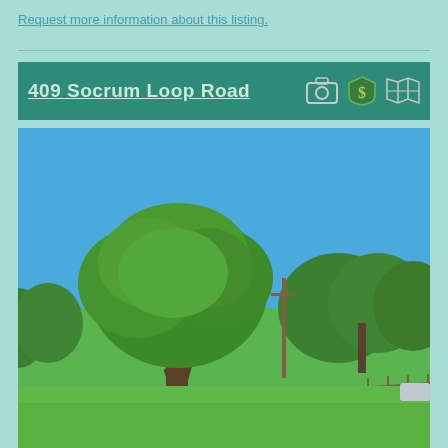Request more information about this listing.
409 Socrum Loop Road
[Figure (photo): Outdoor photo of a large green oak tree in the foreground on a grassy lot with additional trees in the background under a clear blue sky. A utility pole is visible in the mid-ground and a fence line on the right side.]